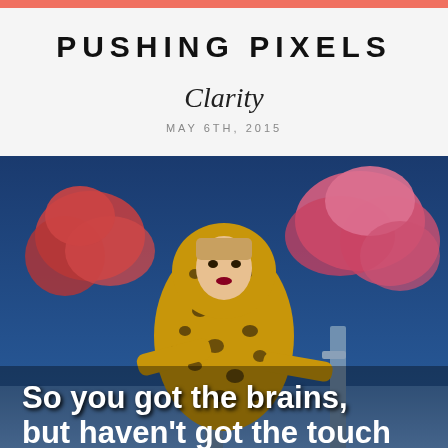PUSHING PIXELS
Clarity
MAY 6TH, 2015
[Figure (photo): Woman in leopard-print hoodie jumpsuit standing near blue metal poles, with pink and red smoke clouds in background. Text overlay at bottom reads: 'So you got the brains, but haven't got the touch']
So you got the brains, but haven't got the touch